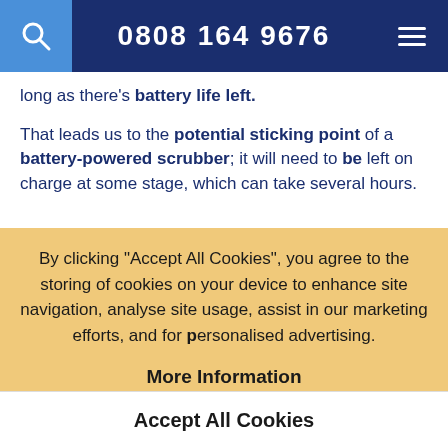0808 164 9676
…g… …y… …p, long as there's battery life left.
That leads us to the potential sticking point of a battery-powered scrubber; it will need to be left on charge at some stage, which can take several hours.
By clicking "Accept All Cookies", you agree to the storing of cookies on your device to enhance site navigation, analyse site usage, assist in our marketing efforts, and for personalised advertising.
More Information
Accept All Cookies